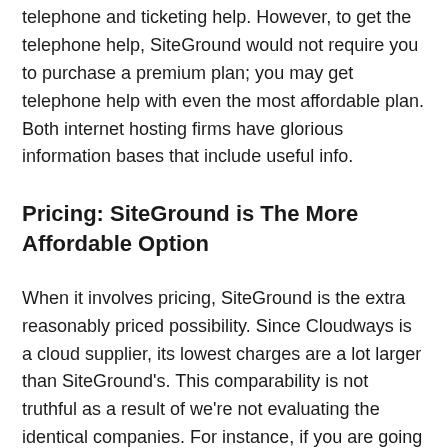telephone and ticketing help. However, to get the telephone help, SiteGround would not require you to purchase a premium plan; you may get telephone help with even the most affordable plan. Both internet hosting firms have glorious information bases that include useful info.
Pricing: SiteGround is The More Affordable Option
When it involves pricing, SiteGround is the extra reasonably priced possibility. Since Cloudways is a cloud supplier, its lowest charges are a lot larger than SiteGround's. This comparability is not truthful as a result of we're not evaluating the identical companies. For instance, if you are going to buy a cloud internet